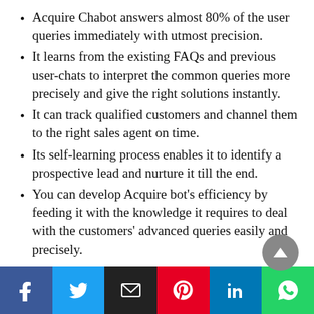Acquire Chabot answers almost 80% of the user queries immediately with utmost precision.
It learns from the existing FAQs and previous user-chats to interpret the common queries more precisely and give the right solutions instantly.
It can track qualified customers and channel them to the right sales agent on time.
Its self-learning process enables it to identify a prospective lead and nurture it till the end.
You can develop Acquire bot’s efficiency by feeding it with the knowledge it requires to deal with the customers’ advanced queries easily and precisely.